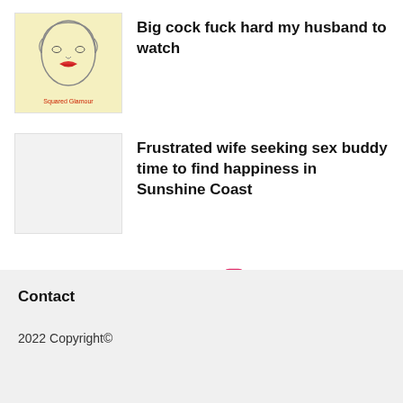[Figure (illustration): Thumbnail image with yellow background showing illustrated female face with red lips, text 'Squared Glamour' in red at bottom]
Big cock fuck hard my husband to watch
[Figure (photo): Light gray blank thumbnail placeholder]
Frustrated wife seeking sex buddy time to find happiness in Sunshine Coast
[Figure (infographic): Social media icons: Facebook (f), Twitter (bird), YouTube (red play button), Instagram (camera outline)]
Contact
2022 Copyright©